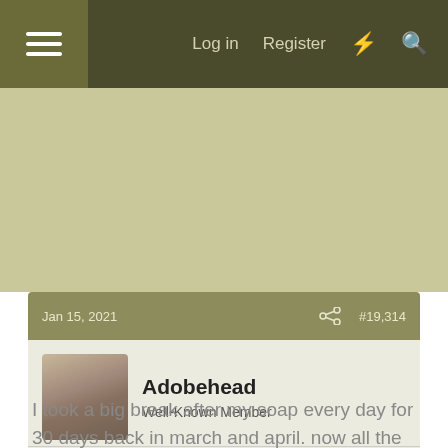Log in   Register
[Figure (screenshot): Advertisement / empty content area with olive/khaki background]
Jan 15, 2021   #19,314
Adobehead
Well-Known Member
I took a big break after my soap every day for 30 days back in march and april. now all the soaps are well